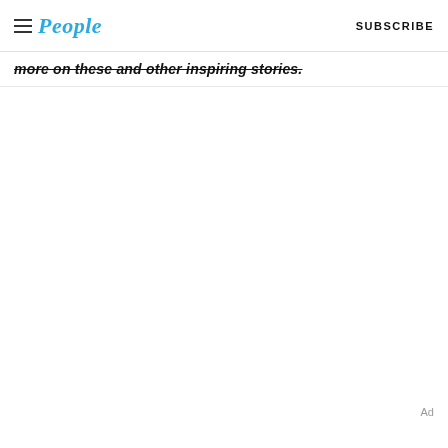People | SUBSCRIBE
more on these and other inspiring stories.
Ad